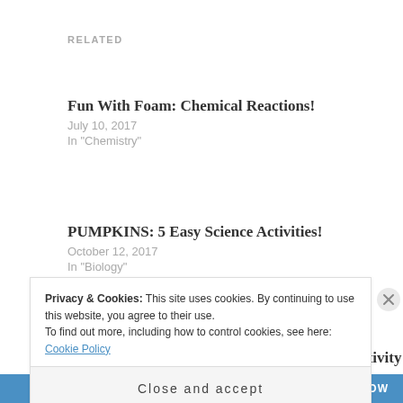RELATED
Fun With Foam: Chemical Reactions!
July 10, 2017
In "Chemistry"
PUMPKINS: 5 Easy Science Activities!
October 12, 2017
In "Biology"
Bubbly Designs: a baking soda and vinegar activity
March 17, 2017
In "Chemistry"
Privacy & Cookies: This site uses cookies. By continuing to use this website, you agree to their use.
To find out more, including how to control cookies, see here: Cookie Policy
Close and accept